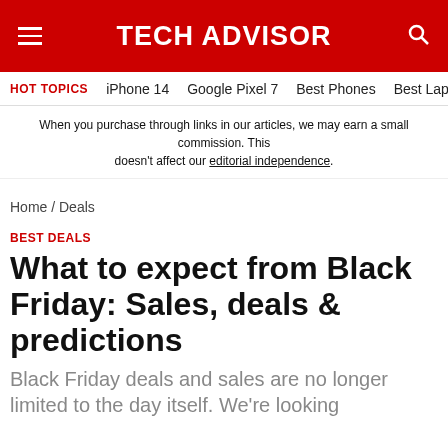TECH ADVISOR
HOT TOPICS  iPhone 14  Google Pixel 7  Best Phones  Best Lapt
When you purchase through links in our articles, we may earn a small commission. This doesn’t affect our editorial independence.
Home / Deals
BEST DEALS
What to expect from Black Friday: Sales, deals & predictions
Black Friday deals and sales are no longer limited to the day itself. We're looking